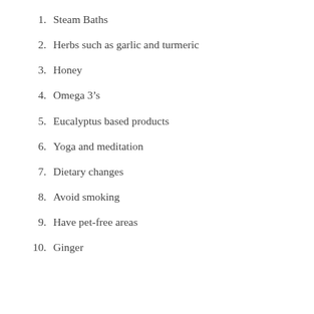1.  Steam Baths
2.  Herbs such as garlic and turmeric
3.  Honey
4.  Omega 3’s
5.  Eucalyptus based products
6.  Yoga and meditation
7.  Dietary changes
8.  Avoid smoking
9.  Have pet-free areas
10.  Ginger